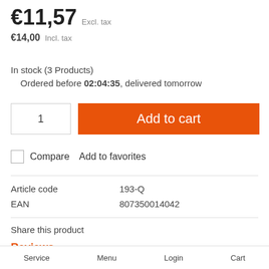€11,57 Excl. tax
€14,00 Incl. tax
In stock (3 Products)
Ordered before 02:04:35, delivered tomorrow
1
Add to cart
Compare   Add to favorites
|  |  |
| --- | --- |
| Article code | 193-Q |
| EAN | 807350014042 |
Share this product
Reviews
Service   Menu   Login   Cart